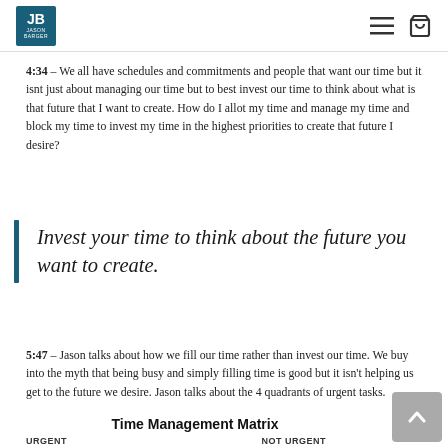JB Jason Barger | navigation and cart icons
4:34 – We all have schedules and commitments and people that want our time but it isnt just about managing our time but to best invest our time to think about what is that future that I want to create. How do I allot my time and manage my time and block my time to invest my time in the highest priorities to create that future I desire?
Invest your time to think about the future you want to create.
5:47 – Jason talks about how we fill our time rather than invest our time. We buy into the myth that being busy and simply filling time is good but it isn't helping us get to the future we desire. Jason talks about the 4 quadrants of urgent tasks.
Time Management Matrix
URGENT		NOT URGENT